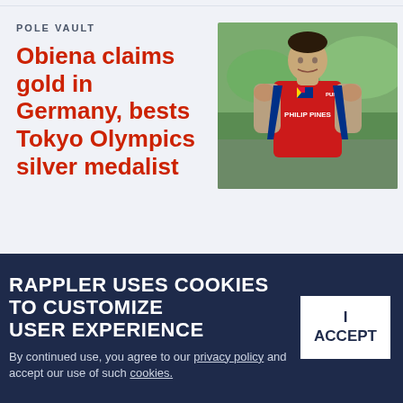POLE VAULT
Obiena claims gold in Germany, bests Tokyo Olympics silver medalist
[Figure (photo): Athlete wearing red Philippines PUMA uniform celebrating with fists raised]
RAPPLER USES COOKIES TO CUSTOMIZE USER EXPERIENCE
By continued use, you agree to our privacy policy and accept our use of such cookies.
I ACCEPT